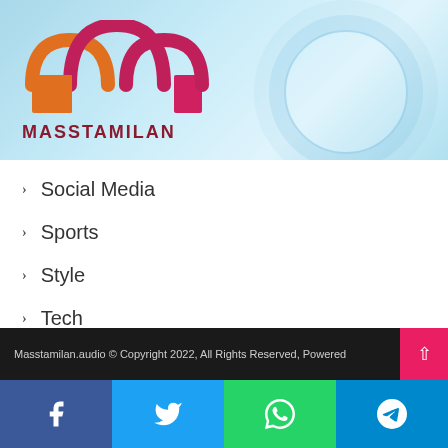[Figure (logo): Masstamilan logo with stylized M shape in orange and magenta/red colors, with text MASSTAMILAN below in dark red]
Social Media
Sports
Style
Tech
Technology
Travel
Web
Web design
Masstamilan.audio © Copyright 2022, All Rights Reserved, Powered